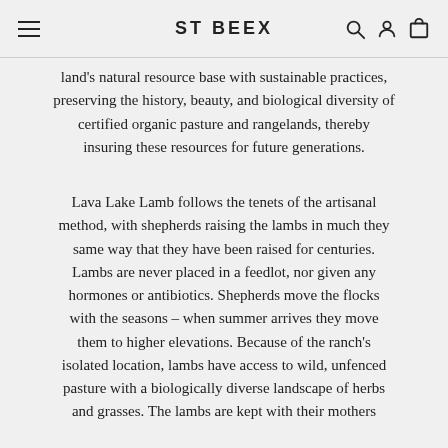ST BEEX
land's natural resource base with sustainable practices, preserving the history, beauty, and biological diversity of certified organic pasture and rangelands, thereby insuring these resources for future generations.
Lava Lake Lamb follows the tenets of the artisanal method, with shepherds raising the lambs in much they same way that they have been raised for centuries. Lambs are never placed in a feedlot, nor given any hormones or antibiotics. Shepherds move the flocks with the seasons – when summer arrives they move them to higher elevations. Because of the ranch's isolated location, lambs have access to wild, unfenced pasture with a biologically diverse landscape of herbs and grasses. The lambs are kept with their mothers